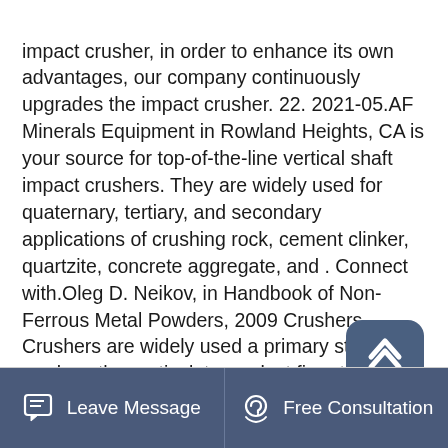impact crusher, in order to enhance its own advantages, our company continuously upgrades the impact crusher. 22. 2021-05.AF Minerals Equipment in Rowland Heights, CA is your source for top-of-the-line vertical shaft impact crushers. They are widely used for quaternary, tertiary, and secondary applications of crushing rock, cement clinker, quartzite, concrete aggregate, and . Connect with.Oleg D. Neikov, in Handbook of Non-Ferrous Metal Powders, 2009 Crushers. Crushers are widely used a primary stage to produce the particulate product finer than about 50–100 mm in size. They are classified as jaw, gyratory and cone crushers based on compression, cutter mill based on shear and hammer crusher based on impact.
[Figure (other): Scroll-to-top button: rounded rectangle with upward chevron arrow icon]
Leave Message   Free Consultation